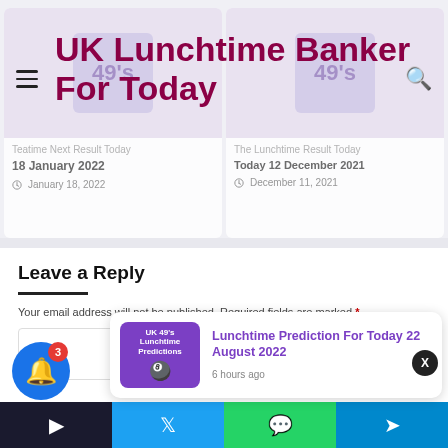UK Lunchtime Banker For Today
Teatime Next Result Today
18 January 2022
January 18, 2022
The Lunchtime Result Today 12 December 2021
December 11, 2021
Leave a Reply
Your email address will not be published. Required fields are marked *
[Figure (screenshot): Notification popup showing 'Lunchtime Prediction For Today 22 August 2022' with UK 49s thumbnail and '6 hours ago' timestamp]
Lunchtime Prediction For Today 22 August 2022
6 hours ago